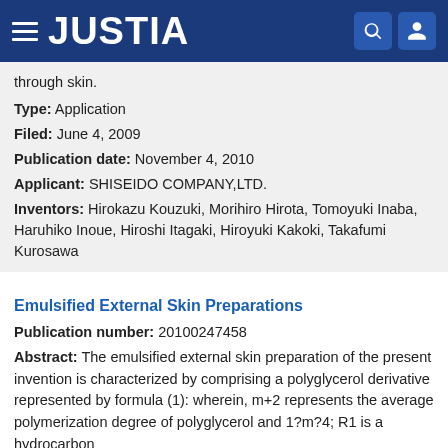JUSTIA
through skin.
Type: Application
Filed: June 4, 2009
Publication date: November 4, 2010
Applicant: SHISEIDO COMPANY,LTD.
Inventors: Hirokazu Kouzuki, Morihiro Hirota, Tomoyuki Inaba, Haruhiko Inoue, Hiroshi Itagaki, Hiroyuki Kakoki, Takafumi Kurosawa
Emulsified External Skin Preparations
Publication number: 20100247458
Abstract: The emulsified external skin preparation of the present invention is characterized by comprising a polyglycerol derivative represented by formula (1): wherein, m+2 represents the average polymerization degree of polyglycerol and 1?m?4; R1 is a hydrocarbon